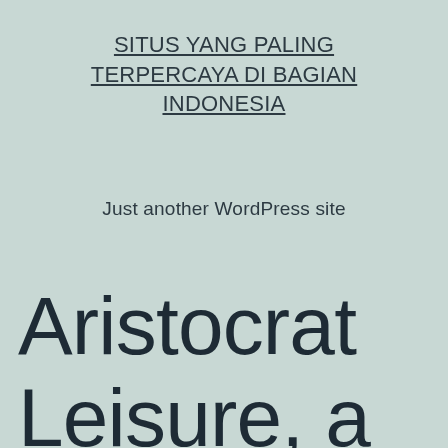SITUS YANG PALING TERPERCAYA DI BAGIAN INDONESIA
Just another WordPress site
Aristocrat Leisure, a poker